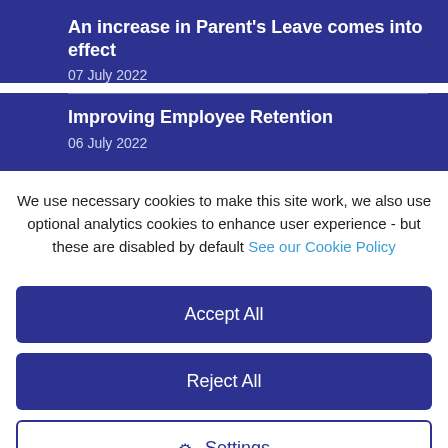An increase in Parent's Leave comes into effect
07 July 2022
Improving Employee Retention
06 July 2022
We use necessary cookies to make this site work, we also use optional analytics cookies to enhance user experience - but these are disabled by default See our Cookie Policy
Accept All
Reject All
Settings